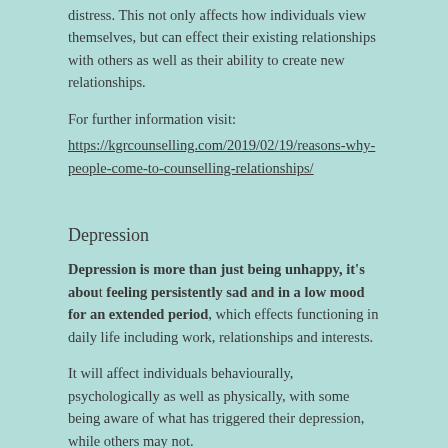distress. This not only affects how individuals view themselves, but can effect their existing relationships with others as well as their ability to create new relationships.
For further information visit:
https://kgrcounselling.com/2019/02/19/reasons-why-people-come-to-counselling-relationships/
Depression
Depression is more than just being unhappy, it's about feeling persistently sad and in a low mood for an extended period, which effects functioning in daily life including work, relationships and interests.
It will affect individuals behaviourally, psychologically as well as physically, with some being aware of what has triggered their depression, while others may not.